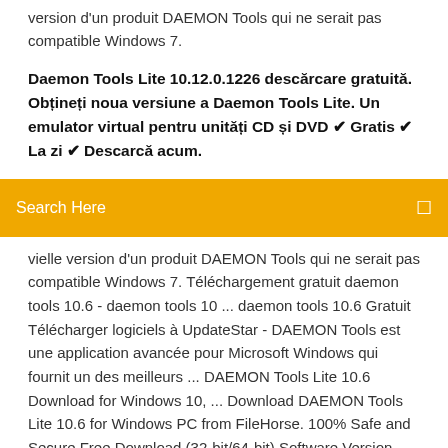version d'un produit DAEMON Tools qui ne serait pas compatible Windows 7.
Daemon Tools Lite 10.12.0.1226 descărcare gratuită. Obțineți noua versiune a Daemon Tools Lite. Un emulator virtual pentru unități CD și DVD ✔ Gratis ✔ La zi ✔ Descarcă acum.
Search Here
vielle version d'un produit DAEMON Tools qui ne serait pas compatible Windows 7. Téléchargement gratuit daemon tools 10.6 - daemon tools 10 ... daemon tools 10.6 Gratuit Télécharger logiciels à UpdateStar - DAEMON Tools est une application avancée pour Microsoft Windows qui fournit un des meilleurs ... DAEMON Tools Lite 10.6 Download for Windows 10, ... Download DAEMON Tools Lite 10.6 for Windows PC from FileHorse. 100% Safe and Secure Free Download (32-bit/64-bit) Software Version. DAEMON Tools Pro App for PC Windows 10 Dernière version 2020.